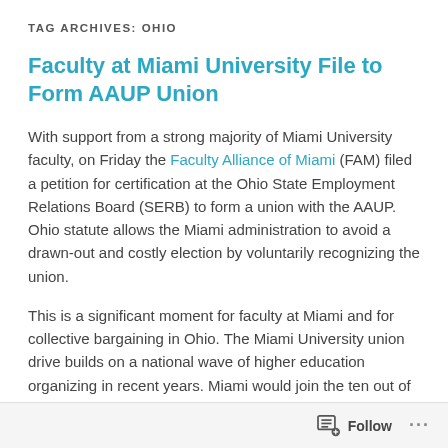TAG ARCHIVES: OHIO
Faculty at Miami University File to Form AAUP Union
With support from a strong majority of Miami University faculty, on Friday the Faculty Alliance of Miami (FAM) filed a petition for certification at the Ohio State Employment Relations Board (SERB) to form a union with the AAUP. Ohio statute allows the Miami administration to avoid a drawn-out and costly election by voluntarily recognizing the union.
This is a significant moment for faculty at Miami and for collective bargaining in Ohio. The Miami University union drive builds on a national wave of higher education organizing in recent years. Miami would join the ten out of fourteen other four-year Ohio public universities with collective bargaining agreements and would be the largest